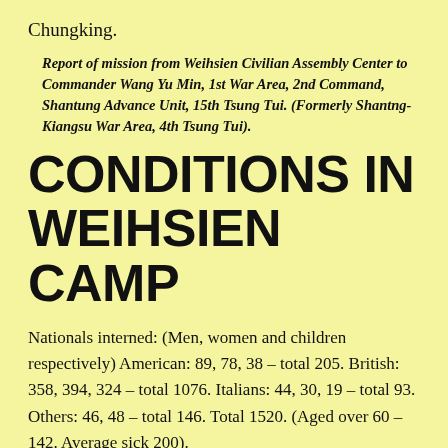Chungking.
Report of mission from Weihsien Civilian Assembly Center to Commander Wang Yu Min, 1st War Area, 2nd Command, Shantung Advance Unit, 15th Tsung Tui. (Formerly Shantng-Kiangsu War Area, 4th Tsung Tui).
CONDITIONS IN WEIHSIEN CAMP
Nationals interned: (Men, women and children respectively) American: 89, 78, 38 – total 205. British: 358, 394, 324 – total 1076. Italians: 44, 30, 19 – total 93. Others: 46, 48 – total 146. Total 1520. (Aged over 60 – 142. Average sick 200).